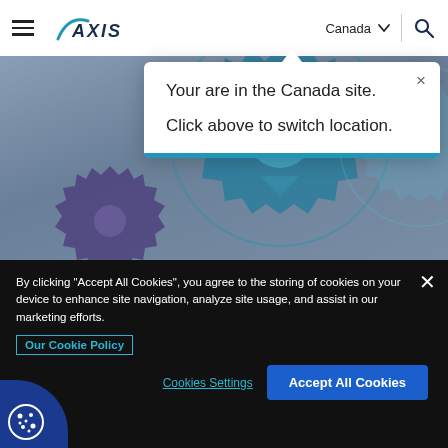[Figure (logo): AXIS Insurance company logo with hamburger menu icon on left and Canada country selector and search icon on right in white header bar]
[Figure (illustration): Background hero image of geometric low-poly style interlocking gears in teal/blue and purple tones on grey background]
Your are in the Canada site.
Click above to switch location.
By clicking “Accept All Cookies”, you agree to the storing of cookies on your device to enhance site navigation, analyze site usage, and assist in our marketing efforts.
Our Cookie Policy
Cookies Settings
Accept All Cookies